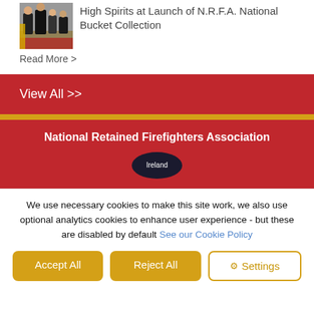[Figure (photo): Thumbnail image of people in formal wear on a red carpet at an event]
High Spirits at Launch of N.R.F.A. National Bucket Collection
Read More >
View All >>
National Retained Firefighters Association
[Figure (logo): Ireland badge/seal in dark circular shape]
We use necessary cookies to make this site work, we also use optional analytics cookies to enhance user experience - but these are disabled by default See our Cookie Policy
Accept All
Reject All
Settings